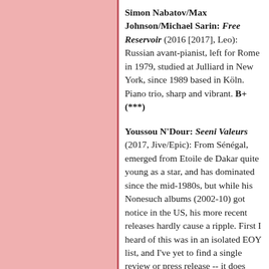[Figure (illustration): Pink/salmon colored rectangular panel on the left side of the page]
Simon Nabatov/Max Johnson/Michael Sarin: Free Reservoir (2016 [2017], Leo): Russian avant-pianist, left for Rome in 1979, studied at Julliard in New York, since 1989 based in Köln. Piano trio, sharp and vibrant. B+(***)
Youssou N'Dour: Seeni Valeurs (2017, Jive/Epic): From Sénégal, emerged from Etoile de Dakar quite young as a star, and has dominated since the mid-1980s, but while his Nonesuch albums (2002-10) got notice in the US, his more recent releases hardly cause a ripple. First I heard of this was in an isolated EOY list, and I've yet to find a single review or press release -- it does show up on numerous streaming sites, and for sale as a download. Strikes me as masterful, especially as the rhythm adds layers upon layers